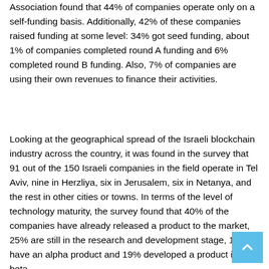Association found that 44% of companies operate only on a self-funding basis. Additionally, 42% of these companies raised funding at some level: 34% got seed funding, about 1% of companies completed round A funding and 6% completed round B funding. Also, 7% of companies are using their own revenues to finance their activities.
Looking at the geographical spread of the Israeli blockchain industry across the country, it was found in the survey that 91 out of the 150 Israeli companies in the field operate in Tel Aviv, nine in Herzliya, six in Jerusalem, six in Netanya, and the rest in other cities or towns. In terms of the level of technology maturity, the survey found that 40% of the companies have already released a product to the market, 25% are still in the research and development stage, 10% have an alpha product and 19% developed a product in beta.